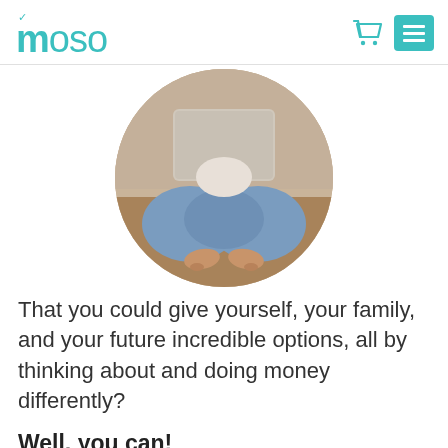moso
[Figure (photo): Circular cropped photo of a person sitting cross-legged on the floor with a laptop on their lap, wearing blue jeans, viewed from above/side, bare feet visible.]
That you could give yourself, your family, and your future incredible options, all by thinking about and doing money differently?
Well, you can!
It's not too late for you to thrive with